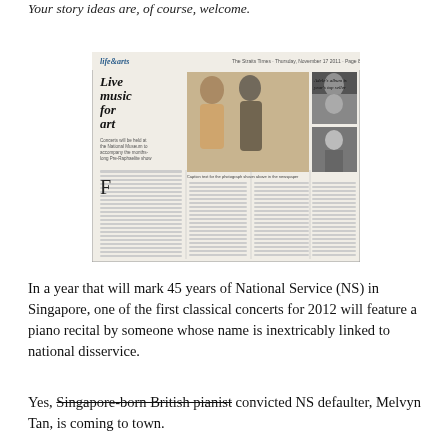Your story ideas are, of course, welcome.
[Figure (photo): Scanned newspaper clipping showing a Life & Arts page with the headline 'Live music for art' and a photo of two people at what appears to be a piano or event, plus smaller photos and columns of text]
In a year that will mark 45 years of National Service (NS) in Singapore, one of the first classical concerts for 2012 will feature a piano recital by someone whose name is inextricably linked to national disservice.
Yes, Singapore-born British pianist convicted NS defaulter, Melvyn Tan, is coming to town.